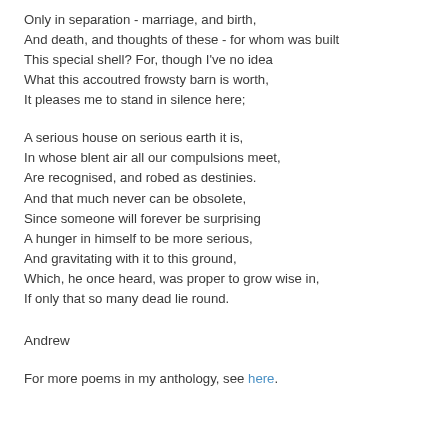Only in separation - marriage, and birth,
And death, and thoughts of these - for whom was built
This special shell? For, though I've no idea
What this accoutred frowsty barn is worth,
It pleases me to stand in silence here;
A serious house on serious earth it is,
In whose blent air all our compulsions meet,
Are recognised, and robed as destinies.
And that much never can be obsolete,
Since someone will forever be surprising
A hunger in himself to be more serious,
And gravitating with it to this ground,
Which, he once heard, was proper to grow wise in,
If only that so many dead lie round.
Andrew
For more poems in my anthology, see here.